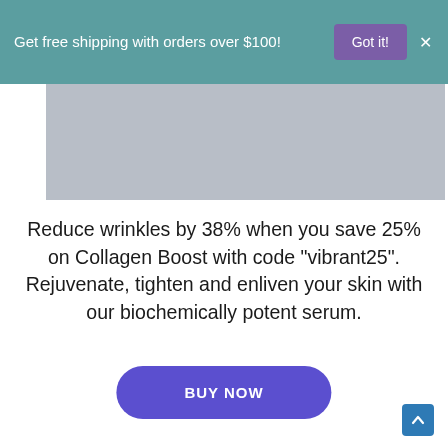Get free shipping with orders over $100!
[Figure (photo): Product image area — light grey rectangular placeholder]
Reduce wrinkles by 38% when you save 25% on Collagen Boost with code "vibrant25". Rejuvenate, tighten and enliven your skin with our biochemically potent serum.
BUY NOW